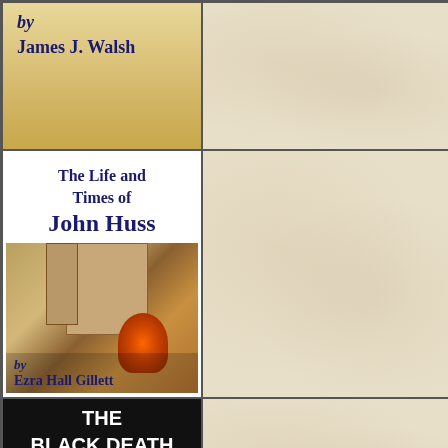[Figure (illustration): Book cover snippet showing 'by James J. Walsh' text on golden/yellow background]
[Figure (illustration): Right column top - parchment/cream colored empty cell]
[Figure (illustration): Book cover for 'The Life and Times of John Huss by Ezra Hall Gillett' with medieval manuscript illustration showing figures, building, and fire]
[Figure (illustration): Right column middle - parchment/cream colored empty cell]
[Figure (illustration): Book cover for 'THE BLACK DEATH IN THE FOURTEENTH CENTURY' with dark/black background and white text]
[Figure (illustration): Right column bottom - parchment/cream colored empty cell]